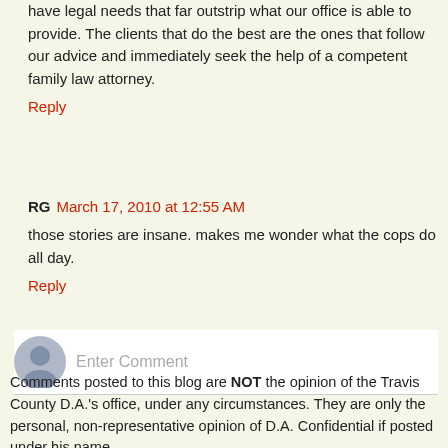have legal needs that far outstrip what our office is able to provide. The clients that do the best are the ones that follow our advice and immediately seek the help of a competent family law attorney.
Reply
RG March 17, 2010 at 12:55 AM
those stories are insane. makes me wonder what the cops do all day.
Reply
[Figure (other): Avatar icon for comment input area with Enter Comment placeholder text]
Comments posted to this blog are NOT the opinion of the Travis County D.A.'s office, under any circumstances. They are only the personal, non-representative opinion of D.A. Confidential if posted under his name.